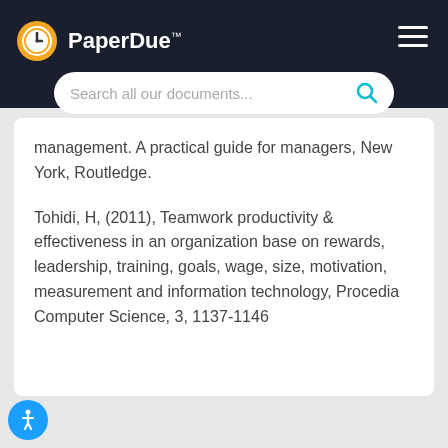PaperDue™
management. A practical guide for managers, New York, Routledge.
Tohidi, H, (2011), Teamwork productivity & effectiveness in an organization base on rewards, leadership, training, goals, wage, size, motivation, measurement and information technology, Procedia Computer Science, 3, 1137-1146